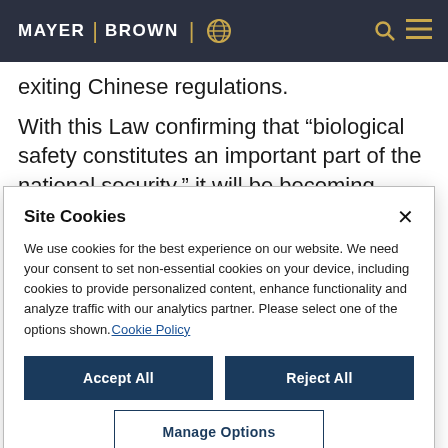MAYER | BROWN
exiting Chinese regulations.
With this Law confirming that “biological safety constitutes an important part of the national security,” it will be becoming important to be aware of
Site Cookies
We use cookies for the best experience on our website. We need your consent to set non-essential cookies on your device, including cookies to provide personalized content, enhance functionality and analyze traffic with our analytics partner. Please select one of the options shown. Cookie Policy
Accept All | Reject All | Manage Options